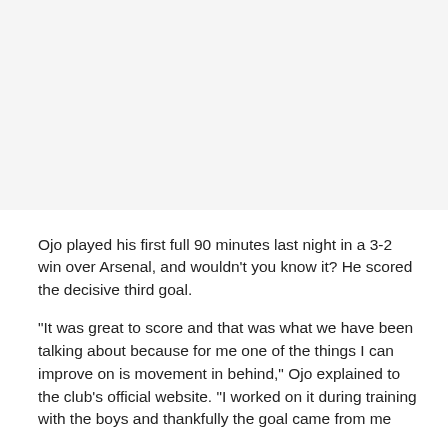[Figure (photo): Placeholder image area at the top of the page]
Ojo played his first full 90 minutes last night in a 3-2 win over Arsenal, and wouldn't you know it? He scored the decisive third goal.
“It was great to score and that was what we have been talking about because for me one of the things I can improve on is movement in behind,” Ojo explained to the club’s official website. “I worked on it during training with the boys and thankfully the goal came from me